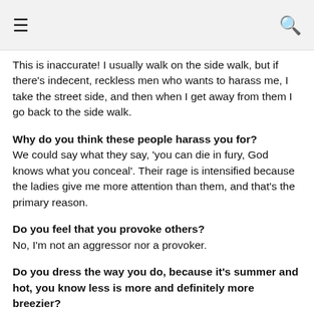≡  🔍
This is inaccurate! I usually walk on the side walk, but if there's indecent, reckless men who wants to harass me, I take the street side, and then when I get away from them I go back to the side walk.
Why do you think these people harass you for?
We could say what they say, 'you can die in fury, God knows what you conceal'. Their rage is intensified because the ladies give me more attention than them, and that's the primary reason.
Do you feel that you provoke others?
No, I'm not an aggressor nor a provoker.
Do you dress the way you do, because it's summer and hot, you know less is more and definitely more breezier?